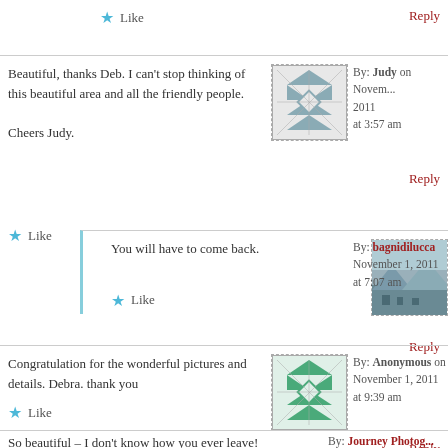Like
Reply
Beautiful, thanks Deb. I can't stop thinking of this beautiful area and all the friendly people.

Cheers Judy.
By: Judy on November 1, 2011 at 3:57 am
Reply
Like
You will have to come back.
By: bagnidilucca November 1, 2011 at 7:07 am
Like
Reply
Congratulation for the wonderful pictures and details. Debra. thank you
By: Anonymous on November 1, 2011 at 9:39 am
Like
Reply
So beautiful – I don't know how you ever leave!
By: Journey Photog...